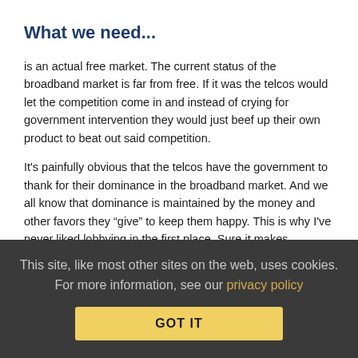What we need...
is an actual free market. The current status of the broadband market is far from free. If it was the telcos would let the competition come in and instead of crying for government intervention they would just beef up their own product to beat out said competition.
It's painfully obvious that the telcos have the government to thank for their dominance in the broadband market. And we all know that dominance is maintained by the money and other favors they “give” to keep them happy. This is why I've never liked lobbying in the first place. Sure it makes politicians aware of issues but it also basically puts a politician's support up for the highest bidder.
The only surefire way to turn broadband into the free market the telcos want us to believe it is is to get the government out of the
This site, like most other sites on the web, uses cookies. For more information, see our privacy policy
GOT IT